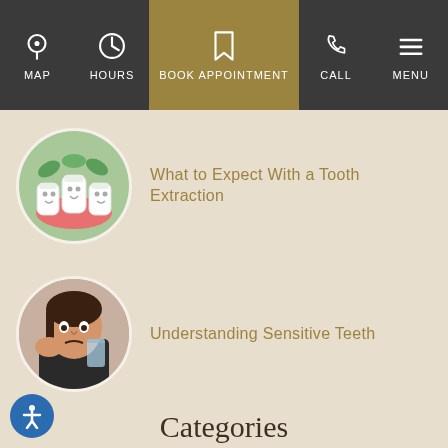MAP | HOURS | BOOK APPOINTMENT | CALL | MENU
[Figure (illustration): Circular illustration of cartoon teeth characters with green background]
What to Expect With a Tooth Extraction
[Figure (photo): Circular photo of a young woman holding her cheek in pain, holding a glass of water]
Understanding Sensitive Teeth
Categories
Affordable Dental Care  8
Affordable Quality Dentures  5
Cosmetic Dentistry  1